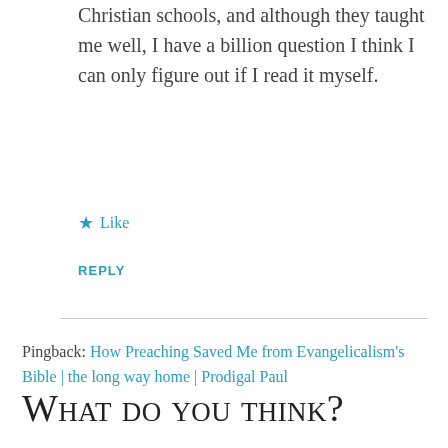Christian schools, and although they taught me well, I have a billion question I think I can only figure out if I read it myself.
★ Like
REPLY
Pingback: How Preaching Saved Me from Evangelicalism's Bible | the long way home | Prodigal Paul
What do you think?